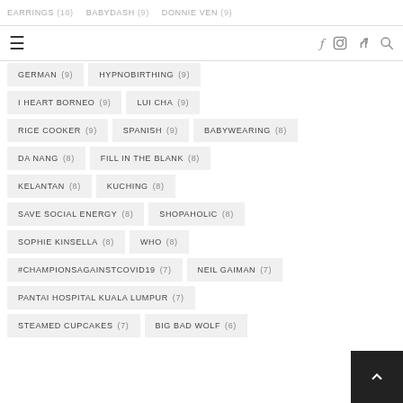EARRINGS (10)  BABYDASH (9)  DONNIE YEN (9)
Navigation bar with hamburger menu and social icons (Facebook, Instagram, Pinterest, Search)
GERMAN (9)
HYPNOBIRTHING (9)
I HEART BORNEO (9)
LUI CHA (9)
RICE COOKER (9)
SPANISH (9)
BABYWEARING (8)
DA NANG (8)
FILL IN THE BLANK (8)
KELANTAN (8)
KUCHING (8)
SAVE SOCIAL ENERGY (8)
SHOPAHOLIC (8)
SOPHIE KINSELLA (8)
WHO (8)
#CHAMPIONSAGAINSTCOVID19 (7)
NEIL GAIMAN (7)
PANTAI HOSPITAL KUALA LUMPUR (7)
STEAMED CUPCAKES (7)
BIG BAD WOLF (6)